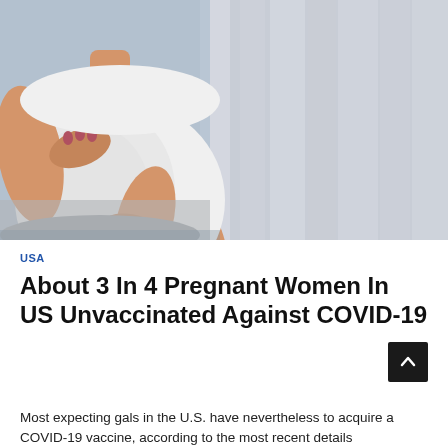[Figure (photo): Pregnant woman in white t-shirt holding her belly with both hands, sitting in a clinical/medical setting with curtains in background]
USA
About 3 In 4 Pregnant Women In US Unvaccinated Against COVID-19
Most expecting gals in the U.S. have nevertheless to acquire a COVID-19 vaccine, according to the most recent details